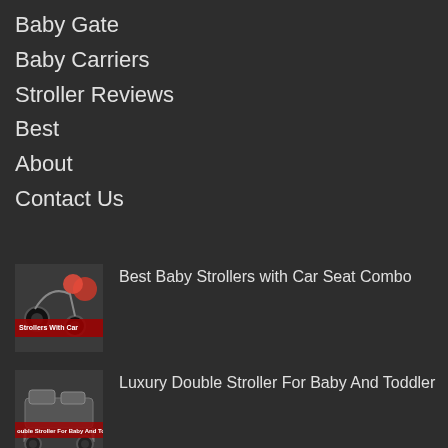Baby Gate
Baby Carriers
Stroller Reviews
Best
About
Contact Us
[Figure (photo): Thumbnail image for Best Baby Strollers with Car Seat Combo article, showing strollers with red background and text overlay]
Best Baby Strollers with Car Seat Combo
[Figure (photo): Thumbnail image for Luxury Double Stroller For Baby And Toddler article, showing a double stroller]
Luxury Double Stroller For Baby And Toddler